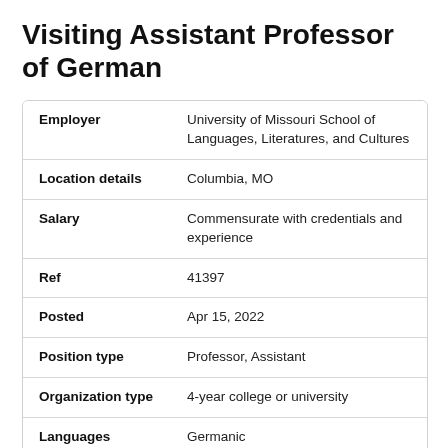Visiting Assistant Professor of German
| Field | Value |
| --- | --- |
| Employer | University of Missouri School of Languages, Literatures, and Cultures |
| Location details | Columbia, MO |
| Salary | Commensurate with credentials and experience |
| Ref | 41397 |
| Posted | Apr 15, 2022 |
| Position type | Professor, Assistant |
| Organization type | 4-year college or university |
| Languages | Germanic |